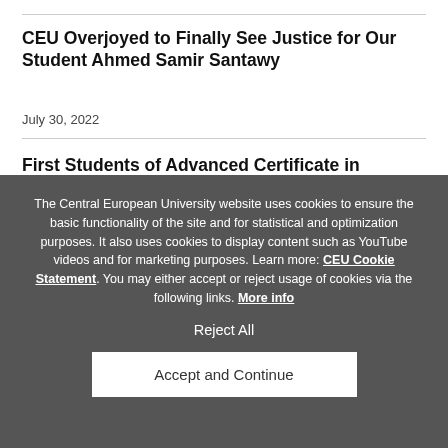CEU Overjoyed to Finally See Justice for Our Student Ahmed Samir Santawy
July 30, 2022
First Students of Advanced Certificate in Romani
The Central European University website uses cookies to ensure the basic functionality of the site and for statistical and optimization purposes. It also uses cookies to display content such as YouTube videos and for marketing purposes. Learn more: CEU Cookie Statement. You may either accept or reject usage of cookies via the following links. More info
Reject All
Accept and Continue